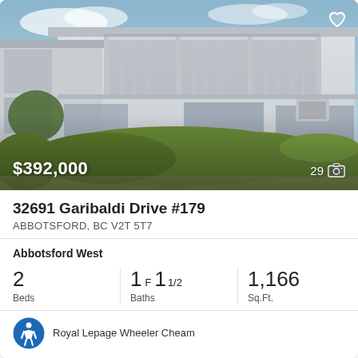[Figure (photo): Exterior photo of a two-story white condo building with covered balconies, large windows, and manicured hedges in the foreground, blue sky background. Price overlay $392,000 bottom-left; photo count 29 with camera icon bottom-right; heart icon top-right.]
32691 Garibaldi Drive #179
ABBOTSFORD, BC V2T 5T7
Abbotsford West
2 Beds | 1F 11/2 Baths | 1,166 Sq.Ft.
Royal Lepage Wheeler Cheam